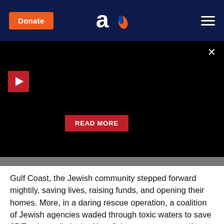Donate | Aish.com logo | Menu
[Figure (screenshot): Black video player area with red play button, close X button, and red READ MORE button overlay]
Gulf Coast, the Jewish community stepped forward mightily, saving lives, raising funds, and opening their homes. More, in a daring rescue operation, a coalition of Jewish agencies waded through toxic waters to save 25 Torah scrolls in the New Orleans area, some of which had also been rescued from the Holocaust, "surviving yet a second horrific disaster," said Rabbi David Saperstein, director of the Washington-based Religious Action Center. Chabad officials, were